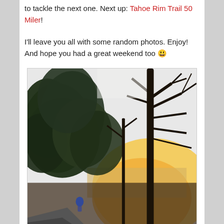to tackle the next one. Next up: Tahoe Rim Trail 50 Miler!
I'll leave you all with some random photos. Enjoy! And hope you had a great weekend too 😀
[Figure (photo): Outdoor photo of trees with dark silhouetted branches against a bright sky, with a road visible in the lower left and warm golden light through the trees suggesting sunset or sunrise near a body of water.]